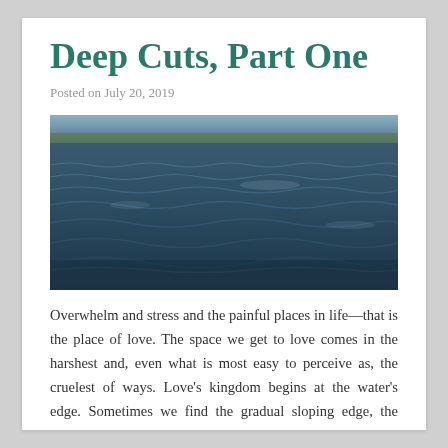Deep Cuts, Part One
Posted on July 20, 2019
[Figure (photo): Photograph of rippling water surface, taken from a low angle, showing waves and reflections of sky and distant tree line]
Overwhelm and stress and the painful places in life—that is the place of love. The space we get to love comes in the harshest and, even what is most easy to perceive as, the cruelest of ways. Love's kingdom begins at the water's edge. Sometimes we find the gradual sloping edge, the gentle entry, only to learn in time to take it as